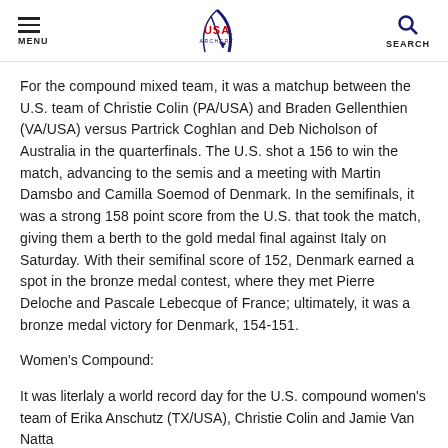MENU | USA Archery Logo | SEARCH
For the compound mixed team, it was a matchup between the U.S. team of Christie Colin (PA/USA) and Braden Gellenthien (VA/USA) versus Partrick Coghlan and Deb Nicholson of Australia in the quarterfinals. The U.S. shot a 156 to win the match, advancing to the semis and a meeting with Martin Damsbo and Camilla Soemod of Denmark. In the semifinals, it was a strong 158 point score from the U.S. that took the match, giving them a berth to the gold medal final against Italy on Saturday. With their semifinal score of 152, Denmark earned a spot in the bronze medal contest, where they met Pierre Deloche and Pascale Lebecque of France; ultimately, it was a bronze medal victory for Denmark, 154-151.
Women's Compound:
It was literlaly a world record day for the U.S. compound women's team of Erika Anschutz (TX/USA), Christie Colin and Jamie Van Natta